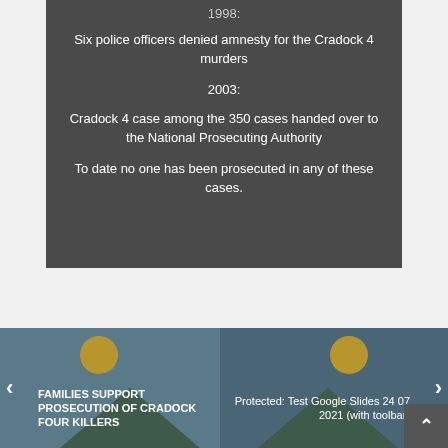1998:
Six police officers denied amnesty for the Cradock 4 murders
2003:
Cradock 4 case among the 350 cases handed over to the National Prosecuting Authority
To date no one has been prosecuted in any of these cases.
FAMILIES SUPPORT PROSECUTION OF CRADOCK FOUR KILLERS
Protected: Test Google Slides 24 07 2021 (with toolbar)